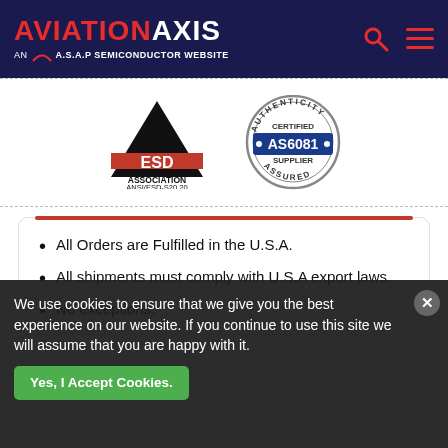AVIATION AXIS — AN A.S.A.P SEMICONDUCTOR WEBSITE
[Figure (logo): ESD Association ANSI/ESD-S20.20 certification logo with black triangle and red ESD text]
[Figure (logo): AS6081 Authenticity Certified Supplier Assured circular badge in blue and grey]
All Orders are Fulfilled in the U.S.A.
All shipments must comply with U.S.A export laws.
No exceptions.
We use cookies to ensure that we give you the best experience on our website. If you continue to use this site we will assume that you are happy with it.
Yes, I Accept Cookies.